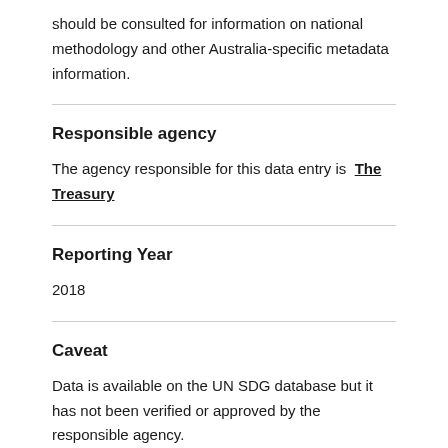should be consulted for information on national methodology and other Australia-specific metadata information.
Responsible agency
The agency responsible for this data entry is The Treasury
Reporting Year
2018
Caveat
Data is available on the UN SDG database but it has not been verified or approved by the responsible agency.
Indicator status